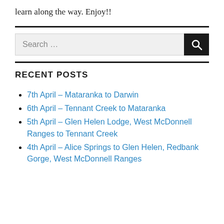learn along the way. Enjoy!!
Search …
RECENT POSTS
7th April – Mataranka to Darwin
6th April – Tennant Creek to Mataranka
5th April – Glen Helen Lodge, West McDonnell Ranges to Tennant Creek
4th April – Alice Springs to Glen Helen, Redbank Gorge, West McDonnell Ranges